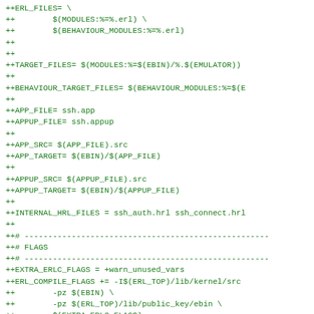++ERL_FILES= \
++        $(MODULES:%=%.erl) \
++        $(BEHAVIOUR_MODULES:%=%.erl)
++
++
++TARGET_FILES= $(MODULES:%=$(EBIN)/%.$(EMULATOR))
++
++BEHAVIOUR_TARGET_FILES= $(BEHAVIOUR_MODULES:%=$(E
++
++APP_FILE= ssh.app
++APPUP_FILE= ssh.appup
++
++APP_SRC= $(APP_FILE).src
++APP_TARGET= $(EBIN)/$(APP_FILE)
++
++APPUP_SRC= $(APPUP_FILE).src
++APPUP_TARGET= $(EBIN)/$(APPUP_FILE)
++
++INTERNAL_HRL_FILES = ssh_auth.hrl ssh_connect.hrl
++
++# ----------------------------------------------------
++# FLAGS
++# ----------------------------------------------------
++EXTRA_ERLC_FLAGS = +warn_unused_vars
++ERL_COMPILE_FLAGS += -I$(ERL_TOP)/lib/kernel/src
++        -pz $(EBIN) \
++        -pz $(ERL_TOP)/lib/public_key/ebin \
++        $(EXTRA_ERLC_FLAGS)
++
++
++#